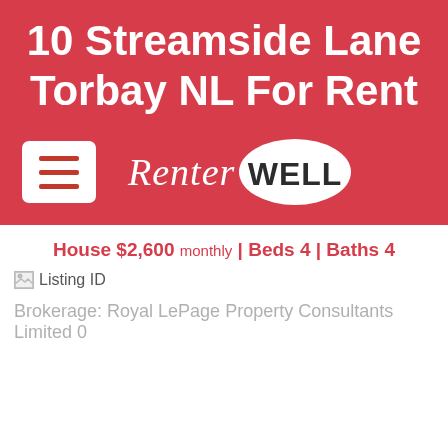10 Streamside Lane Torbay NL For Rent
[Figure (logo): RenterWELL logo with hamburger menu button on red background]
House $2,600 monthly | Beds 4 | Baths 4
Listing ID
Brokerage: Royal LePage Property Consultants Limited 0